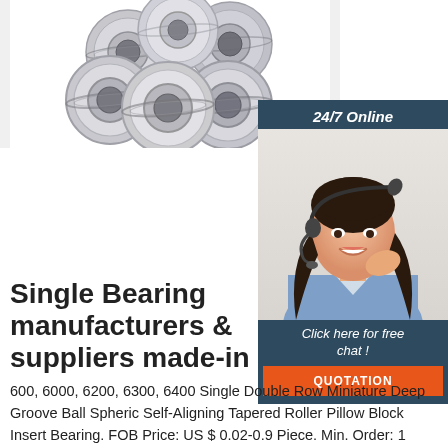[Figure (photo): Group of metallic single-row deep groove ball bearings arranged in a pile on white background]
[Figure (illustration): 24/7 Online chat widget with woman wearing headset, 'Click here for free chat!' and orange QUOTATION button]
Single Bearing manufacturers & suppliers made-in
600, 6000, 6200, 6300, 6400 Single Double Row Miniature Deep Groove Ball Spheric Self-Aligning Tapered Roller Pillow Block Insert Bearing. FOB Price: US $ 0.02-0.9 Piece. Min. Order: 1 Piece. Rolling Body: Ball Bearings. The Number of Rows: Single.